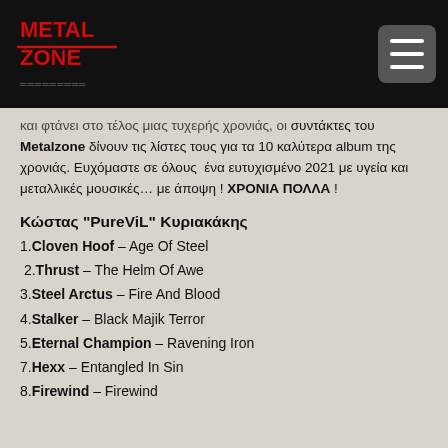Metal Zone logo and navigation
και φτάνει στο τέλος μιας τυχερής χρονιάς, οι συντάκτες του Metalzone δίνουν τις λίστες τους για τα 10 καλύτερα album της χρονιάς. Ευχόμαστε σε όλους ένα ευτυχισμένο 2021 με υγεία και μεταλλικές μουσικές… με άποψη ! ΧΡΟΝΙΑ ΠΟΛΛΑ !
Κώστας "PureViL" Κυριακάκης
1. Cloven Hoof – Age Of Steel
2. Thrust – The Helm Of Awe
3. Steel Arctus – Fire And Blood
4. Stalker – Black Majik Terror
5. Eternal Champion – Ravening Iron
7. Hexx – Entangled In Sin
8. Firewind – Firewind